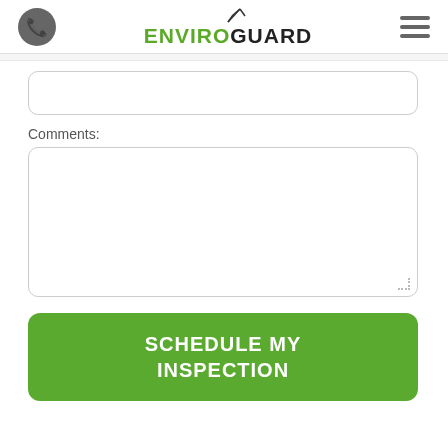EnviroGuard
Comments:
[Figure (other): Empty single-line text input field with rounded border]
[Figure (other): Multi-line textarea input field with rounded border and resize handle]
SCHEDULE MY INSPECTION